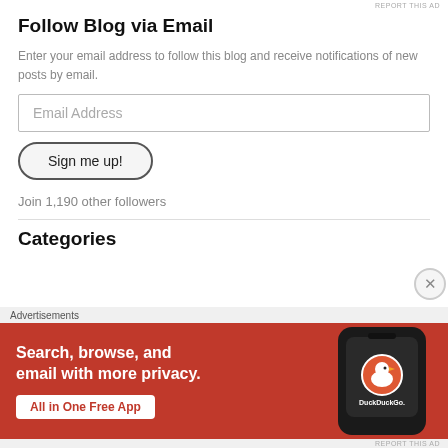REPORT THIS AD
Follow Blog via Email
Enter your email address to follow this blog and receive notifications of new posts by email.
Email Address
Sign me up!
Join 1,190 other followers
Categories
[Figure (screenshot): DuckDuckGo advertisement banner with orange background. Text: 'Search, browse, and email with more privacy. All in One Free App'. Shows a DuckDuckGo logo on a phone mockup.]